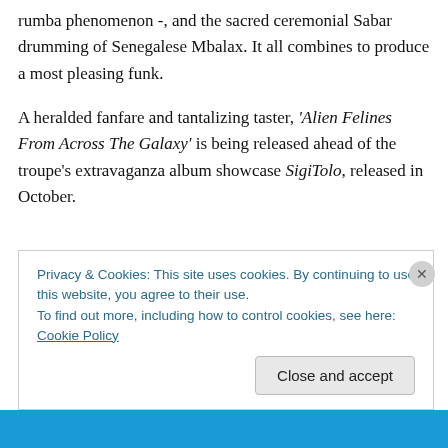rumba phenomenon -, and the sacred ceremonial Sabar drumming of Senegalese Mbalax. It all combines to produce a most pleasing funk.
A heralded fanfare and tantalizing taster, 'Alien Felines From Across The Galaxy' is being released ahead of the troupe's extravaganza album showcase SigiTolo, released in October.
Privacy & Cookies: This site uses cookies. By continuing to use this website, you agree to their use.
To find out more, including how to control cookies, see here: Cookie Policy